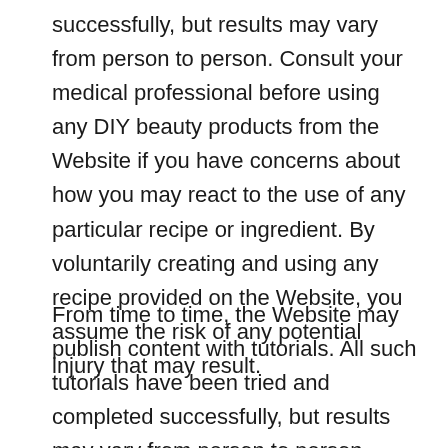successfully, but results may vary from person to person. Consult your medical professional before using any DIY beauty products from the Website if you have concerns about how you may react to the use of any particular recipe or ingredient. By voluntarily creating and using any recipe provided on the Website, you assume the risk of any potential injury that may result.
From time to time, the Website may publish content with tutorials. All such tutorials have been tried and completed successfully, but results may vary from person to person. Some tutorials may include the use of tools, such as